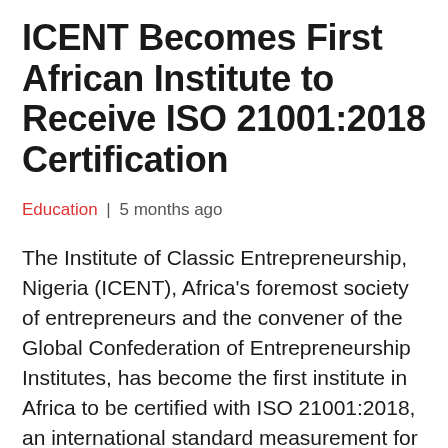ICENT Becomes First African Institute to Receive ISO 21001:2018 Certification
Education | 5 months ago
The Institute of Classic Entrepreneurship, Nigeria (ICENT), Africa’s foremost society of entrepreneurs and the convener of the Global Confederation of Entrepreneurship Institutes, has become the first institute in Africa to be certified with ISO 21001:2018, an international standard measurement for Educational Organisation Management Systems (EOMS).ISO 21001:2018 Certification is the world’s first international management system standard, developed by the International Organization for Standardization for educational organizations, published in